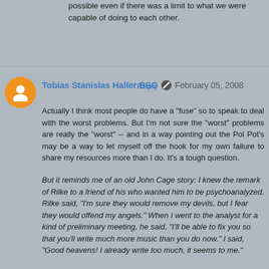possible even if there was a limit to what we were capable of doing to each other.
Reply
Tobias Stanislas Haller BSG  ✏  February 05, 2008
Actually I think most people do have a "fuse" so to speak to deal with the worst problems. But I'm not sure the "worst" problems are really the "worst" -- and in a way pointing out the Pol Pot's may be a way to let myself off the hook for my own failure to share my resources more than I do. It's a tough question.
But it reminds me of an old John Cage story: I knew the remark of Rilke to a friend of his who wanted him to be psychoanalyzed. Rilke said, "I'm sure they would remove my devils, but I fear they would offend my angels." When I went to the analyst for a kind of preliminary meeting, he said, "I'll be able to fix you so that you'll write much more music than you do now." I said, "Good heavens! I already write too much, it seems to me."